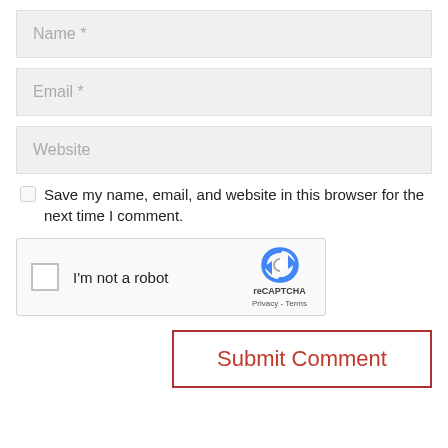Name *
Email *
Website
Save my name, email, and website in this browser for the next time I comment.
[Figure (screenshot): reCAPTCHA widget with checkbox labeled 'I'm not a robot' and reCAPTCHA logo with Privacy - Terms links]
Submit Comment